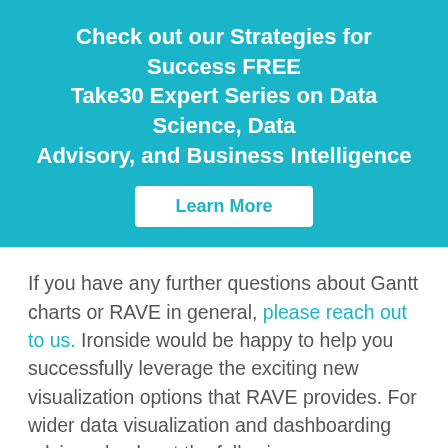Check out our Strategies for Success FREE Take30 Expert Series on Data Science, Data Advisory, and Business Intelligence
Learn More
If you have any further questions about Gantt charts or RAVE in general, please reach out to us. Ironside would be happy to help you successfully leverage the exciting new visualization options that RAVE provides. For wider data visualization and dashboarding advice, check out the following resources:
So What Is Data Discovery Anyway? 5 Key